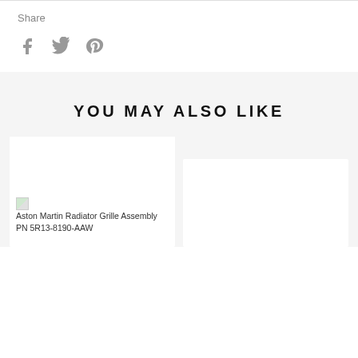Share
[Figure (other): Social media icons: Facebook, Twitter, Pinterest]
YOU MAY ALSO LIKE
[Figure (other): Product card: Aston Martin Radiator Grille Assembly PN 5R13-8190-AAW with broken image placeholder]
[Figure (other): Second product card with no visible content, offset lower]